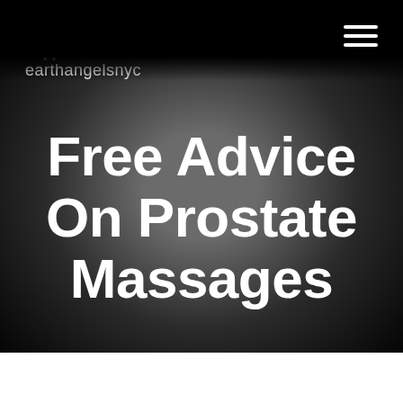[Figure (logo): Earth Angels NYC logo with angel figure icon above text 'earthangelsnyc' in white on black background]
Free Advice On Prostate Massages